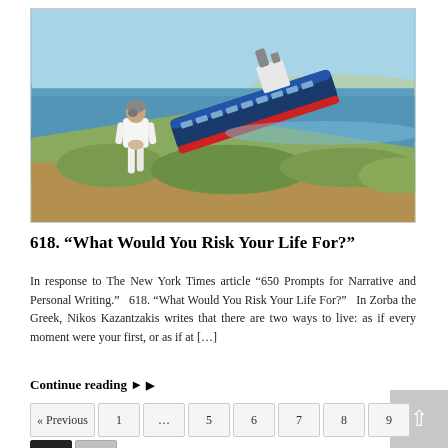[Figure (photo): A person in white clothing standing on a hillside overlooking the ocean, with a large cruise ship capsized/tilted on its side in the water in the background. The sky is clear and blue.]
618. “What Would You Risk Your Life For?”
In response to The New York Times article “650 Prompts for Narrative and Personal Writing.”  618. “What Would You Risk Your Life For?”  In Zorba the Greek, Nikos Kazantzakis writes that there are two ways to live: as if every moment were your first, or as if at […]
Continue reading ►